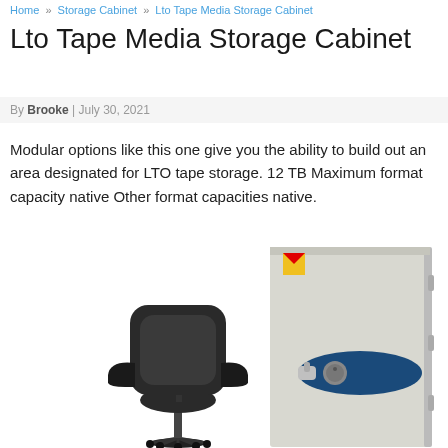Home » Storage Cabinet » Lto Tape Media Storage Cabinet
Lto Tape Media Storage Cabinet
By Brooke | July 30, 2021
Modular options like this one give you the ability to build out an area designated for LTO tape storage. 12 TB Maximum format capacity native Other format capacities native.
[Figure (photo): Photo of an office chair next to a large fire-resistant storage cabinet with a blue oval label and combination lock handle]